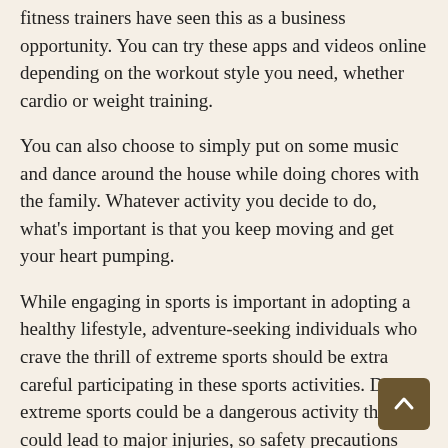fitness trainers have seen this as a business opportunity. You can try these apps and videos online depending on the workout style you need, whether cardio or weight training.
You can also choose to simply put on some music and dance around the house while doing chores with the family. Whatever activity you decide to do, what's important is that you keep moving and get your heart pumping.
While engaging in sports is important in adopting a healthy lifestyle, adventure-seeking individuals who crave the thrill of extreme sports should be extra careful participating in these sports activities. Doing extreme sports could be a dangerous activity that could lead to major injuries, so safety precautions should always be observed.